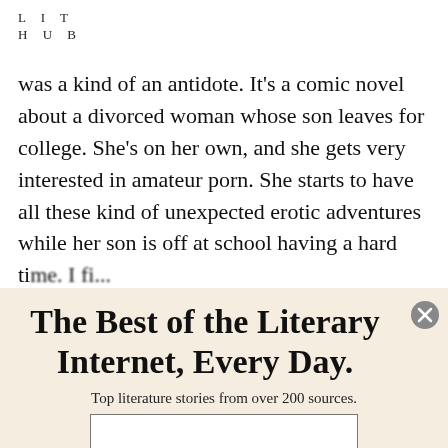LIT HUB
was a kind of an antidote. It’s a comic novel about a divorced woman whose son leaves for college. She’s on her own, and she gets very interested in amateur porn. She starts to have all these kind of unexpected erotic adventures while her son is off at school having a hard ti...
The Best of the Literary Internet, Every Day.
Top literature stories from over 200 sources.
SUBSCRIBE